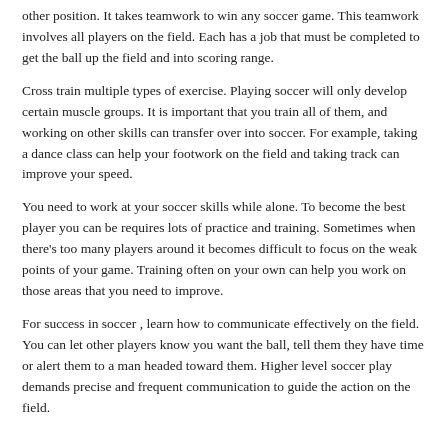other position. It takes teamwork to win any soccer game. This teamwork involves all players on the field. Each has a job that must be completed to get the ball up the field and into scoring range.
Cross train multiple types of exercise. Playing soccer will only develop certain muscle groups. It is important that you train all of them, and working on other skills can transfer over into soccer. For example, taking a dance class can help your footwork on the field and taking track can improve your speed.
You need to work at your soccer skills while alone. To become the best player you can be requires lots of practice and training. Sometimes when there's too many players around it becomes difficult to focus on the weak points of your game. Training often on your own can help you work on those areas that you need to improve.
For success in soccer , learn how to communicate effectively on the field. You can let other players know you want the ball, tell them they have time or alert them to a man headed toward them. Higher level soccer play demands precise and frequent communication to guide the action on the field.